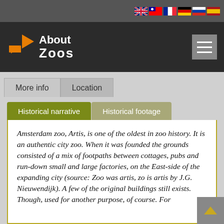[Figure (screenshot): Website screenshot of AboutZoos.com showing a navigation header with logo, language flags, tab navigation with 'More info' and 'Location' tabs, inner tabs 'Historical narrative' and 'Historical footage', and article text about Amsterdam zoo Artis.]
About Zoos
More info | Location
Historical narrative | Historical footage
Amsterdam zoo, Artis, is one of the oldest in zoo history. It is an authentic city zoo. When it was founded the grounds consisted of a mix of footpaths between cottages, pubs and run-down small and large factories, on the East-side of the expanding city (source: Zoo was artis, zo is artis by J.G. Nieuwendijk). A few of the original buildings still exists. Though, used for another purpose, of course. For